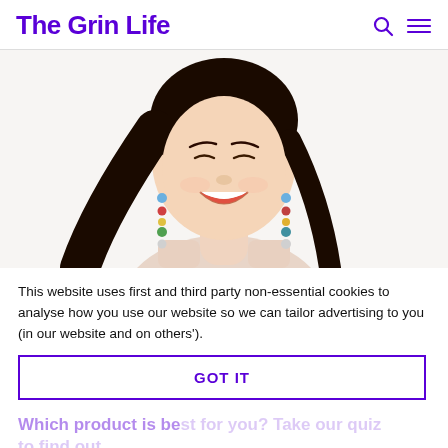The Grin Life
[Figure (photo): Young Asian woman with long black hair, smiling, wearing colorful bead earrings and a light pink top, against a white background]
This website uses first and third party non-essential cookies to analyse how you use our website so we can tailor advertising to you (in our website and on others').
GOT IT
Which product is best for you? Take our quiz to find out.